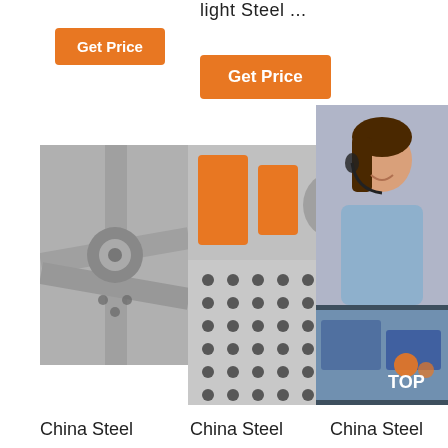light Steel ...
Get Price
Get Price
24/7 Online
[Figure (photo): Three product photos: steel scaffold connectors (grayscale), industrial machinery with orange parts and perforated metal sheet, and a small machinery image at bottom right with TOP logo overlay]
Click here for free chat !
QUOTATION
China Steel
China Steel
China Steel